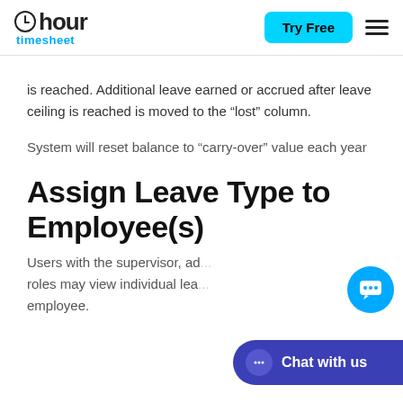hour timesheet | Try Free
is reached. Additional leave earned or accrued after leave ceiling is reached is moved to the “lost” column.
System will reset balance to “carry-over” value each year
Assign Leave Type to Employee(s)
Users with the supervisor, ad... roles may view individual lea... employee.